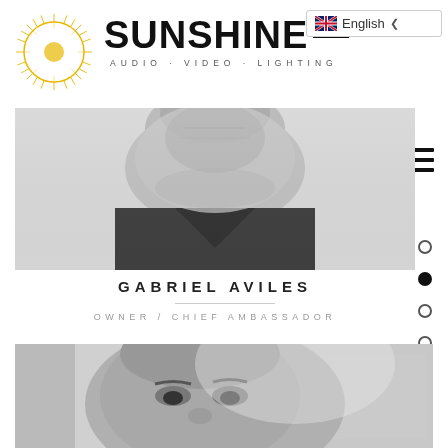[Figure (logo): Sunshine AVL logo with sunburst circle icon and text 'SUNSHINE AVL' with tagline 'AUDIO · VIDEO · LIGHTING']
[Figure (screenshot): English language selector dropdown button with UK flag icon]
[Figure (photo): Black and white close-up photo of Gabriel Aviles, showing chin and collar area]
GABRIEL AVILES
OWNER / CHIEF AMBASSADOR
[Figure (photo): Black and white close-up photo of a man's face showing eyes and forehead]